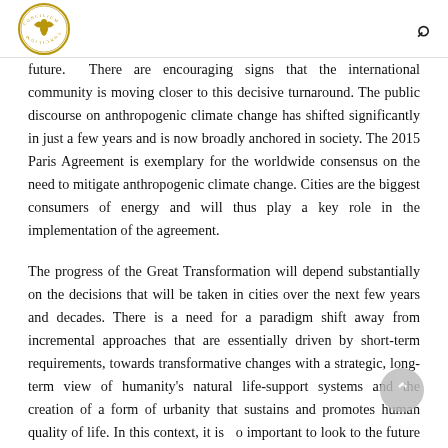[Logo: Concilium] [Search icon]
future. There are encouraging signs that the international community is moving closer to this decisive turnaround. The public discourse on anthropogenic climate change has shifted significantly in just a few years and is now broadly anchored in society. The 2015 Paris Agreement is exemplary for the worldwide consensus on the need to mitigate anthropogenic climate change. Cities are the biggest consumers of energy and will thus play a key role in the implementation of the agreement.
The progress of the Great Transformation will depend substantially on the decisions that will be taken in cities over the next few years and decades. There is a need for a paradigm shift away from incremental approaches that are essentially driven by short-term requirements, towards transformative changes with a strategic, long-term view of humanity's natural life-support systems and the creation of a form of urbanity that sustains and promotes human quality of life. In this context, it is also important to look to the future from today's perspective, which usually makes the path already being followed look inevitable;